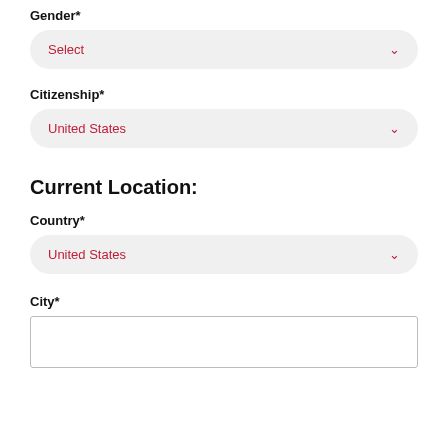Gender*
Select
Citizenship*
United States
Current Location:
Country*
United States
City*